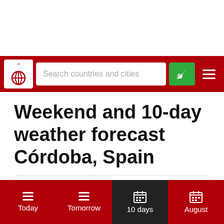[Figure (screenshot): Navigation bar with globe logo, search field 'Search countries and cities', green location button, and hamburger menu on red background]
Weekend and 10-day weather forecast Córdoba, Spain
Contents
Weather forecast for Saturday
[Figure (screenshot): Bottom navigation bar with Today, Tomorrow, 10 days (active/dark), August tabs on red background]